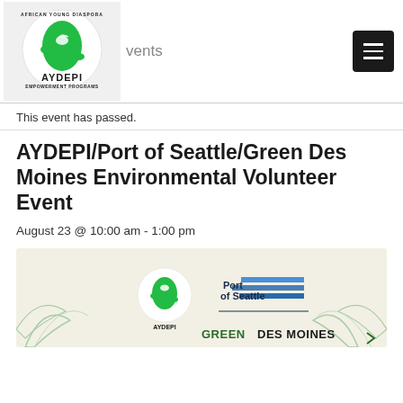AYDEPI logo and navigation Events
This event has passed.
AYDEPI/Port of Seattle/Green Des Moines Environmental Volunteer Event
August 23 @ 10:00 am - 1:00 pm
[Figure (illustration): Event banner image showing AYDEPI logo, Port of Seattle logo, and Green Des Moines text with tropical leaf decorations on a light background]